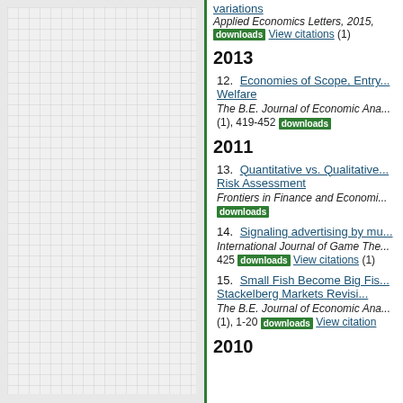[Figure (other): Left panel with gray grid background and green border]
Portuguese stock market... variations, Applied Economics Letters, 2015, downloads View citations (1)
2013
12. Economies of Scope, Entry... Welfare, The B.E. Journal of Economic Ana... (1), 419-452 downloads
2011
13. Quantitative vs. Qualitative... Risk Assessment, Frontiers in Finance and Economi... downloads
14. Signaling advertising by mu..., International Journal of Game The... 425 downloads View citations (1)
15. Small Fish Become Big Fis... Stackelberg Markets Revisi..., The B.E. Journal of Economic Ana... (1), 1-20 downloads View citation
2010